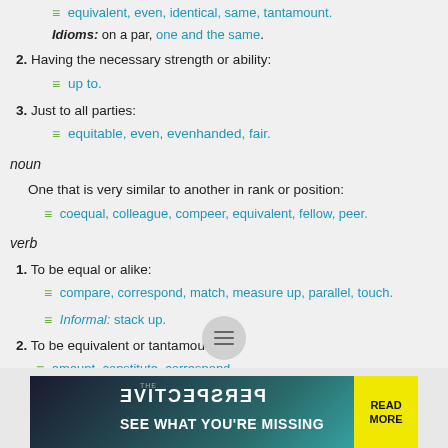≡ equivalent, even, identical, same, tantamount.
Idioms: on a par, one and the same.
2. Having the necessary strength or ability:
≡ up to.
3. Just to all parties:
≡ equitable, even, evenhanded, fair.
noun
One that is very similar to another in rank or position:
≡ coequal, colleague, compeer, equivalent, fellow, peer.
verb
1. To be equal or alike:
≡ compare, correspond, match, measure up, parallel, touch.
≡ Informal: stack up.
2. To be equivalent or tantamount:
≡ amount, constitute, correspond.
Idiom: have all the earmarks.
3. To do or make something equal to:
≡ match, meet, tie.